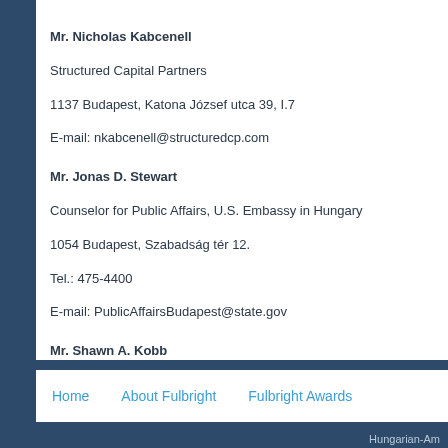Mr. Nicholas Kabcenell
Structured Capital Partners
1137 Budapest, Katona József utca 39, I.7
E-mail: nkabcenell@structuredcp.com
Mr. Jonas D. Stewart
Counselor for Public Affairs, U.S. Embassy in Hungary
1054 Budapest, Szabadság tér 12.
Tel.: 475-4400
E-mail: PublicAffairsBudapest@state.gov
Mr. Shawn A. Kobb
Cultural Affairs Officer, U.S. Embassy in Hungary
1054 Budapest, Szabadság tér 12.
Tel.: 475-4400
E-mail: CulturalAffairsBudapest@state.gov
Home   About Fulbright   Fulbright Awards
Hungarian-Am